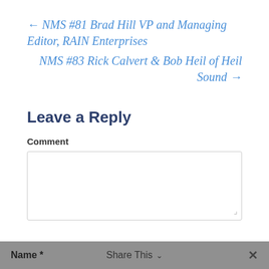← NMS #81 Brad Hill VP and Managing Editor, RAIN Enterprises
NMS #83 Rick Calvert & Bob Heil of Heil Sound →
Leave a Reply
Comment
Name *   Share This ∨   ✕